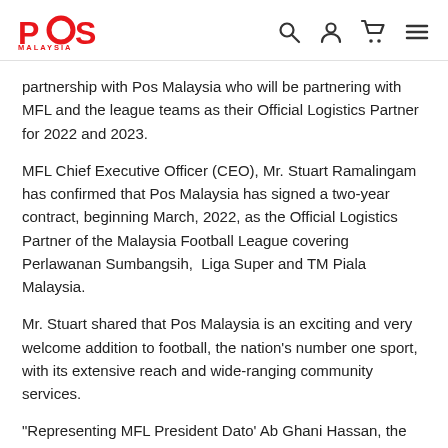POS MALAYSIA [logo with navigation icons]
partnership with Pos Malaysia who will be partnering with MFL and the league teams as their Official Logistics Partner for 2022 and 2023.
MFL Chief Executive Officer (CEO), Mr. Stuart Ramalingam has confirmed that Pos Malaysia has signed a two-year contract, beginning March, 2022, as the Official Logistics Partner of the Malaysia Football League covering Perlawanan Sumbangsih, Liga Super and TM Piala Malaysia.
Mr. Stuart shared that Pos Malaysia is an exciting and very welcome addition to football, the nation's number one sport, with its extensive reach and wide-ranging community services.
"Representing MFL President Dato' Ab Ghani Hassan, the Board of Directors, and the football community, I would like to wish Pos Malaysia a warm welcome to Liga Malaysia 2022 and 2023, and MFL looks forward